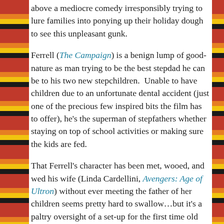above a mediocre comedy irresponsibly trying to lure families into ponying up their holiday dough to see this unpleasant gunk.
Ferrell (The Campaign) is a benign lump of good-nature as man trying to be the best stepdad he can be to his two new stepchildren. Unable to have children due to an unfortunate dental accident (just one of the precious few inspired bits the film has to offer), he's the superman of stepfathers whether staying on top of school activities or making sure the kids are fed.
That Ferrell's character has been met, wooed, and wed his wife (Linda Cardellini, Avengers: Age of Ultron) without ever meeting the father of her children seems pretty hard to swallow…but it's a paltry oversight of a set-up for the first time old dad (Wahlberg, Ted) meets new dad after he decides to enter back into their lives, causing a host of troubles along the way. Wahlberg is the motorcycle riding tough guy with pecs that pop mighty unhappy his wife has moved on without him… so unhappy that he spends the majority of the movie